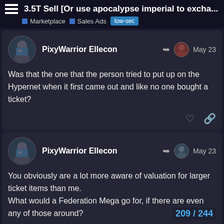3.5T Sell [Or use apocalypse imperial to excha... | Marketplace | Sales Ads | low-sec
PixyWarrior Ellecon — May 23
Was that the one that the person tried to put up on the Hypernet when it first came out and like no one bought a ticket?
PixyWarrior Ellecon — May 23
You obviously are a lot more aware of valuation for larger ticket items than me.
What would a Federation Mega go for, if there are even any of those around?
209 / 244